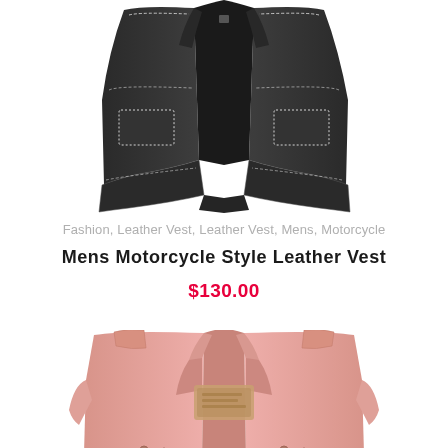[Figure (photo): Dark gray/black men's motorcycle style leather vest, shown from the front, on a white background. White stitching visible on the edges and pockets.]
Fashion, Leather Vest, Leather Vest, Mens, Motorcycle
Mens Motorcycle Style Leather Vest
$130.00
[Figure (photo): Pink women's/unisex biker motorcycle style leather jacket, shown from the front on a white background. Features a brown label patch on the chest and button/snap closures.]